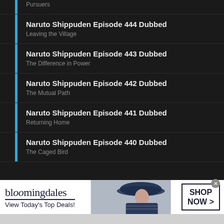Pursuers
Naruto Shippuden Episode 444 Dubbed
Leaving the Village
Naruto Shippuden Episode 443 Dubbed
The Difference in Power
Naruto Shippuden Episode 442 Dubbed
The Mutual Path
Naruto Shippuden Episode 441 Dubbed
Returning Home
Naruto Shippuden Episode 440 Dubbed
The Caged Bird
[Figure (screenshot): Bloomingdale's advertisement banner with text 'bloomingdales', 'View Today's Top Deals!', and 'SHOP NOW >' button, featuring a woman in a large hat]